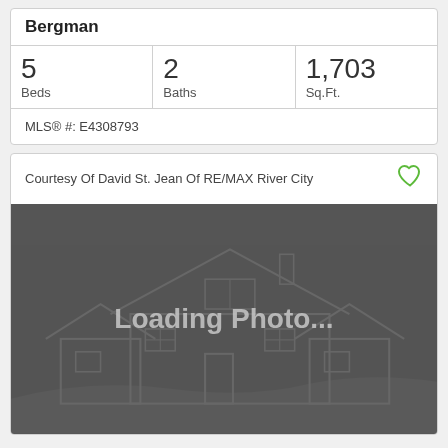Bergman
| Beds | Baths | Sq.Ft. |
| --- | --- | --- |
| 5 | 2 | 1,703 |
MLS® #: E4308793
Courtesy Of David St. Jean Of RE/MAX River City
[Figure (illustration): Loading photo placeholder with house illustration outline on dark grey background, text reads 'Loading Photo...']